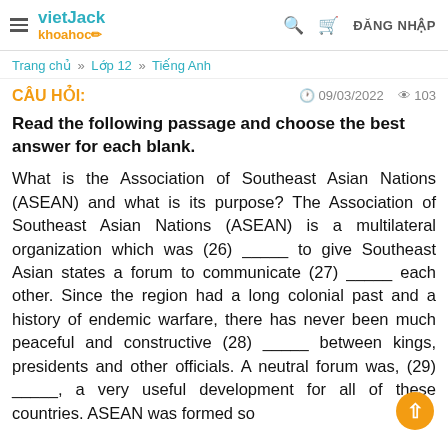vietJack khoahoc | ĐĂNG NHẬP
Trang chủ » Lớp 12 » Tiếng Anh
CÂU HỎI:
09/03/2022   103
Read the following passage and choose the best answer for each blank.
What is the Association of Southeast Asian Nations (ASEAN) and what is its purpose? The Association of Southeast Asian Nations (ASEAN) is a multilateral organization which was (26) _____ to give Southeast Asian states a forum to communicate (27) _____ each other. Since the region had a long colonial past and a history of endemic warfare, there has never been much peaceful and constructive (28) _____ between kings, presidents and other officials. A neutral forum was, (29) _____, a very useful development for all of these countries. ASEAN was formed so